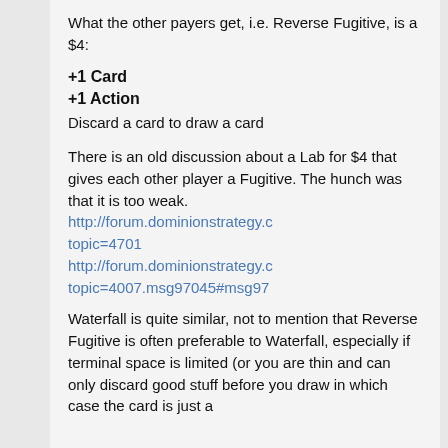What the other payers get, i.e. Reverse Fugitive, is a $4:
+1 Card
+1 Action
Discard a card to draw a card
There is an old discussion about a Lab for $4 that gives each other player a Fugitive. The hunch was that it is too weak.
http://forum.dominionstrategy.c topic=4701
http://forum.dominionstrategy.c topic=4007.msg97045#msg97
Waterfall is quite similar, not to mention that Reverse Fugitive is often preferable to Waterfall, especially if terminal space is limited (or you are thin and can only discard good stuff before you draw in which case the card is just a